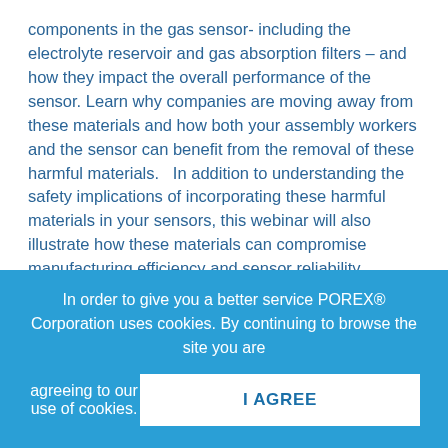components in the gas sensor- including the electrolyte reservoir and gas absorption filters – and how they impact the overall performance of the sensor. Learn why companies are moving away from these materials and how both your assembly workers and the sensor can benefit from the removal of these harmful materials.   In addition to understanding the safety implications of incorporating these harmful materials in your sensors, this webinar will also illustrate how these materials can compromise manufacturing efficiency and sensor reliability.

Learn what porous polymers are, how they are manufactured, and what roles they can play in functional gas sensor components, and how they can...
In order to give you a better service POREX® Corporation uses cookies. By continuing to browse the site you are agreeing to our use of cookies.